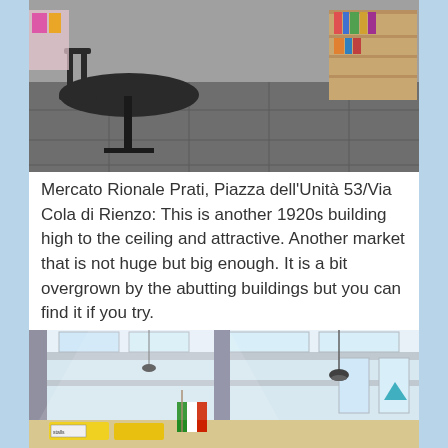[Figure (photo): Interior of a cafe or market space with a round dark table and metal chairs on a grey tile floor, with bookshelves visible in the background on the right side.]
Mercato Rionale Prati, Piazza dell’Unità 53/Via Cola di Rienzo: This is another 1920s building high to the ceiling and attractive. Another market that is not huge but big enough. It is a bit overgrown by the abutting buildings but you can find it if you try.
[Figure (photo): Interior of Mercato Rionale Prati showing high ceilings with skylights, hanging pendant lights, structural columns, and colorful market stalls with flags including the Italian flag visible at the bottom.]